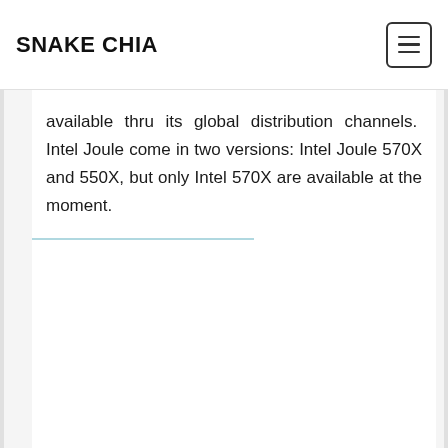SNAKE CHIA
available thru its global distribution channels. Intel Joule come in two versions: Intel Joule 570X and 550X, but only Intel 570X are available at the moment.